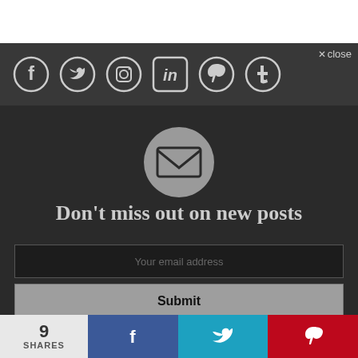[Figure (screenshot): Social media navigation bar with icons for Facebook, Twitter, Instagram, LinkedIn, Pinterest, and Tumblr on a dark background, with a close button in the top right]
[Figure (illustration): Email/envelope icon inside a grey circle on dark background]
Don't miss out on new posts
Your email address
Submit
Don't worry, we don't spam
9 SHARES